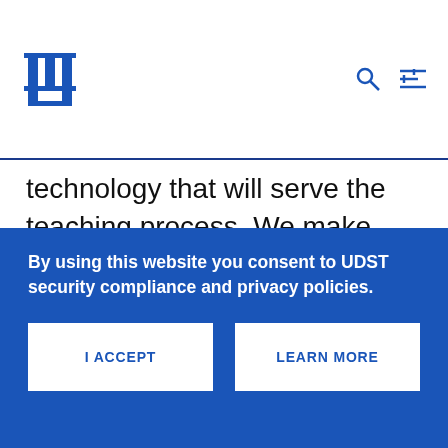UDST logo with search and menu icons
technology that will serve the teaching process. We make sure to graduate talents that are capable of adapting to the requirements of an ever-evolving national and global economy. The significant enrollment surge that we have recently witnessed demonstrates the clear
By using this website you consent to UDST security compliance and privacy policies.
I ACCEPT
LEARN MORE